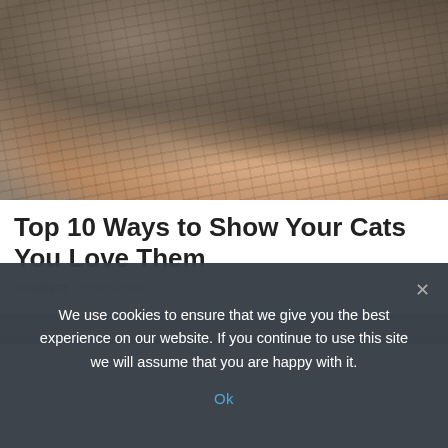[Figure (photo): A person's hand petting a tabby cat. The cat's face is partially visible at the top, and the hand rests on the cat's fur. Background appears to be a textured blanket or surface.]
Top 10 Ways to Show Your Cats You Love Them
ViralBezz | Sponsored
[Figure (photo): Partially visible second article image, cropped at the bottom of the visible area.]
We use cookies to ensure that we give you the best experience on our website. If you continue to use this site we will assume that you are happy with it.
Ok